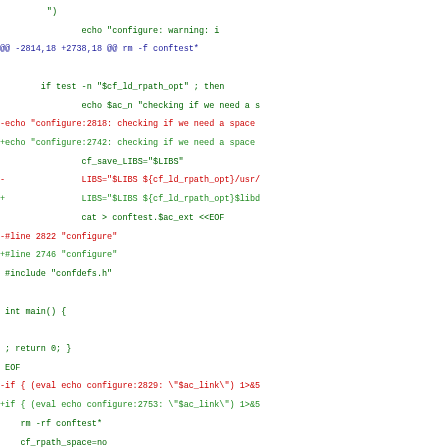Diff/patch code showing changes to a configure script with additions (+) in green, removals (-) in red, and context lines in black, with hunk headers in blue.